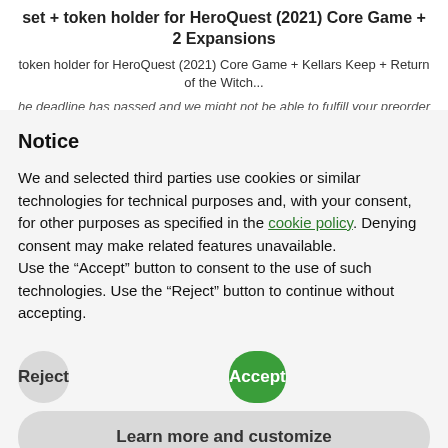set + token holder for HeroQuest (2021) Core Game + 2 Expansions
token holder for HeroQuest (2021) Core Game + Kellars Keep + Return of the Witch...
he deadline has passed and we might not be able to fulfill your preorder after this point.
Register / Log in for Prices
Notice
We and selected third parties use cookies or similar technologies for technical purposes and, with your consent, for other purposes as specified in the cookie policy. Denying consent may make related features unavailable.
Use the “Accept” button to consent to the use of such technologies. Use the “Reject” button to continue without accepting.
Reject
Accept
Learn more and customize